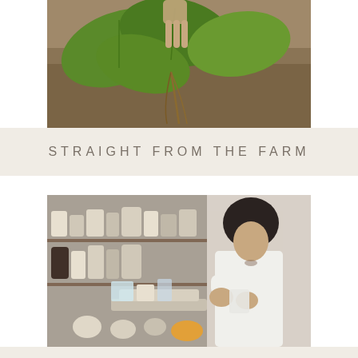[Figure (photo): A hand holding a plant with green leaves and roots, photographed outdoors with a blurred brown soil background — farm field setting.]
STRAIGHT FROM THE FARM
[Figure (photo): A scientist in a white lab coat working at a bench surrounded by bottles, jars, beakers and laboratory equipment, measuring or mixing substances.]
INTO THE LAB